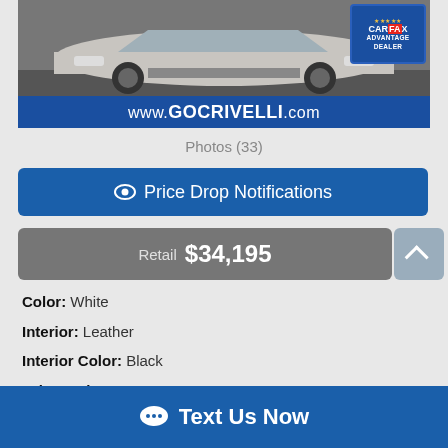[Figure (photo): Car dealership photo showing front of white SUV with CARFAX Advantage Dealer badge, and www.GOCRIVELLI.com banner at bottom]
Photos (33)
Price Drop Notifications
Retail $34,195
Color: White
Interior: Leather
Interior Color: Black
Drive Train: 4WD
Transmission: Automatic
Cylin
Vin:
Text Us Now